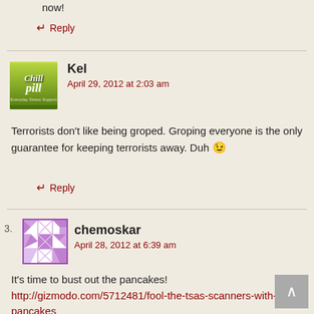now!
↵ Reply
Kel
April 29, 2012 at 2:03 am
Terrorists don't like being groped. Groping everyone is the only guarantee for keeping terrorists away. Duh 😉
↵ Reply
3.
chemoskar
April 28, 2012 at 6:39 am
It's time to bust out the pancakes!
http://gizmodo.com/5712481/fool-the-tsas-scanners-with-pancakes